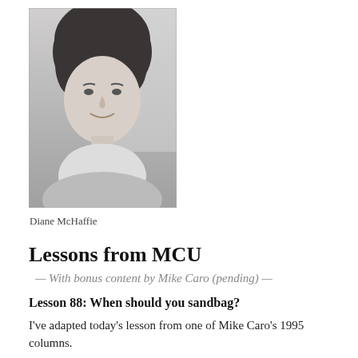[Figure (photo): Black and white portrait photo of Diane McHaffie, a woman with curly hair, smiling, wearing a light scarf or shirt]
Diane McHaffie
Lessons from MCU
— With bonus content by Mike Caro (pending) —
Lesson 88: When should you sandbag?
I've adapted today's lesson from one of Mike Caro's 1995 columns.
Sandbagging is also referred to as the check-raise. What does it mean to sandbag? Mike says one of the